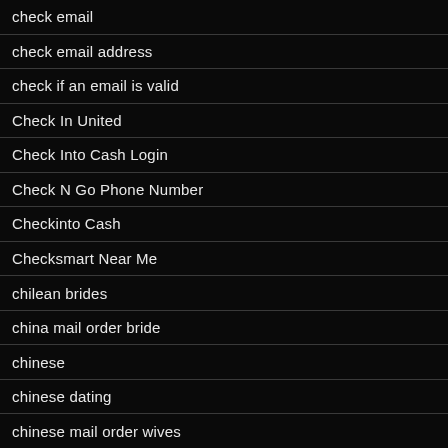check email
check email address
check if an email is valid
Check In United
Check Into Cash Login
Check N Go Phone Number
Checkinto Cash
Checksmart Near Me
chilean brides
china mail order bride
chinese
chinese dating
chinese mail order wives